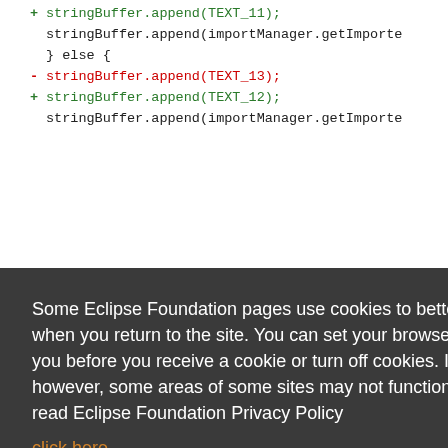+ stringBuffer.append(TEXT_11);
stringBuffer.append(importManager.getImporte...
} else {
- stringBuffer.append(TEXT_13);
+ stringBuffer.append(TEXT_12);
stringBuffer.append(importManager.getImporte...
Some Eclipse Foundation pages use cookies to better serve you when you return to the site. You can set your browser to notify you before you receive a cookie or turn off cookies. If you do so, however, some areas of some sites may not function properly. To read Eclipse Foundation Privacy Policy click here.
Decline
Allow cookies
hortcut f
+ stringBuffer.append(genElement.getEditPartQu...